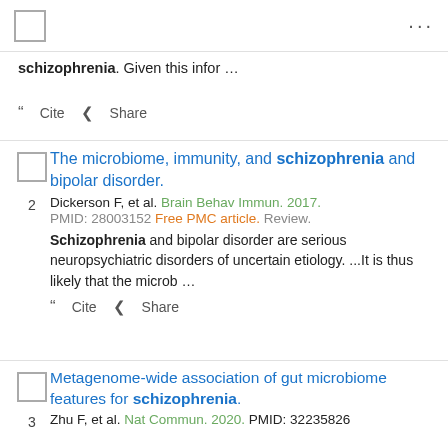☐ ...
schizophrenia. Given this infor …
❝ Cite  < Share
The microbiome, immunity, and schizophrenia and bipolar disorder.
Dickerson F, et al. Brain Behav Immun. 2017. PMID: 28003152 Free PMC article. Review.
Schizophrenia and bipolar disorder are serious neuropsychiatric disorders of uncertain etiology. ...It is thus likely that the microb …
❝ Cite  < Share
Metagenome-wide association of gut microbiome features for schizophrenia.
Zhu F, et al. Nat Commun. 2020. PMID: 32235826